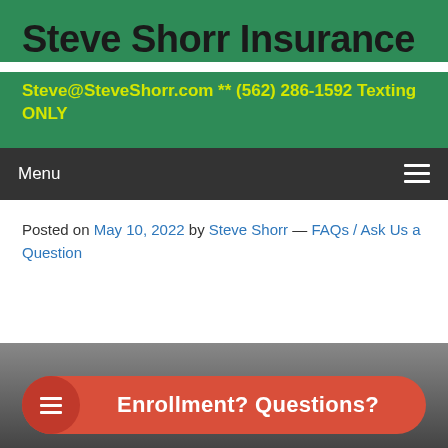Steve Shorr Insurance
Steve@SteveShorr.com ** (562) 286-1592 Texting ONLY
Menu
Posted on May 10, 2022 by Steve Shorr — FAQs / Ask Us a Question
[Figure (screenshot): Enrollment? Questions? banner button with hamburger menu icon on red pill-shaped bar at bottom of page, overlaid on a partially visible image.]